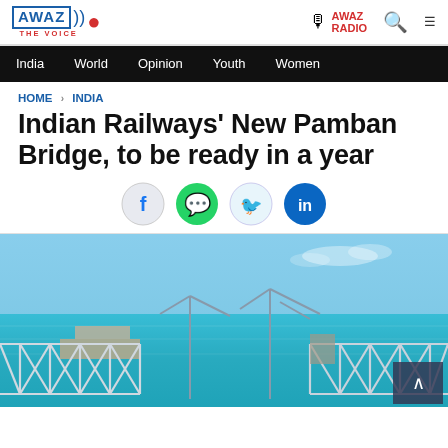AWAZ THE VOICE | AWAZ RADIO
India  World  Opinion  Youth  Women
HOME > INDIA
Indian Railways' New Pamban Bridge, to be ready in a year
[Figure (illustration): Social sharing icons: Facebook, WhatsApp, Twitter, LinkedIn]
[Figure (photo): Construction of the new Pamban Bridge over the sea, with steel truss bridge sections and cranes visible against a blue sky and turquoise sea. A scroll-to-top button is visible in the lower right.]